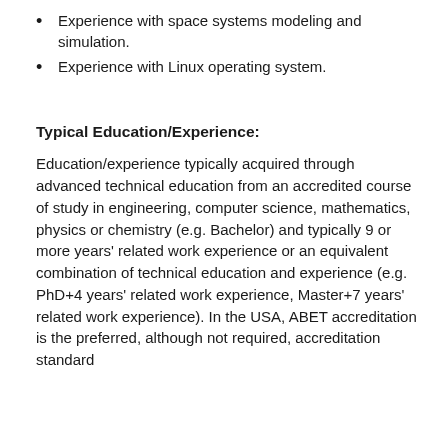Experience with space systems modeling and simulation.
Experience with Linux operating system.
Typical Education/Experience:
Education/experience typically acquired through advanced technical education from an accredited course of study in engineering, computer science, mathematics, physics or chemistry (e.g. Bachelor) and typically 9 or more years' related work experience or an equivalent combination of technical education and experience (e.g. PhD+4 years' related work experience, Master+7 years' related work experience). In the USA, ABET accreditation is the preferred, although not required, accreditation standard